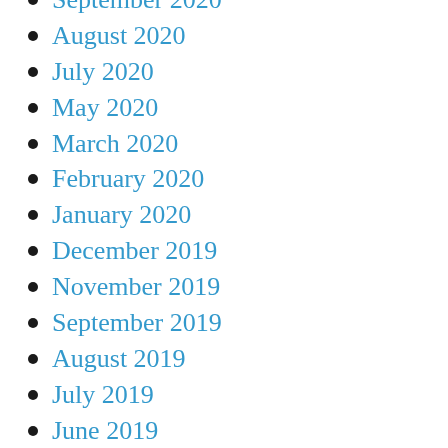September 2020
August 2020
July 2020
May 2020
March 2020
February 2020
January 2020
December 2019
November 2019
September 2019
August 2019
July 2019
June 2019
May 2019
April 2019
March 2019